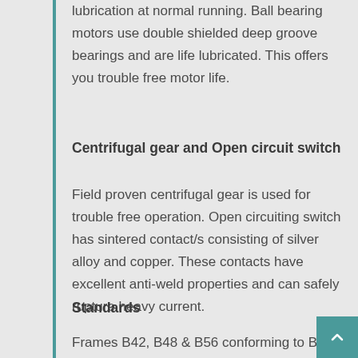lubrication at normal running. Ball bearing motors use double shielded deep groove bearings and are life lubricated. This offers you trouble free motor life.
Centrifugal gear and Open circuit switch
Field proven centrifugal gear is used for trouble free operation. Open circuiting switch has sintered contact/s consisting of silver alloy and copper. These contacts have excellent anti-weld properties and can safely rupture heavy current.
Standards
Frames B42, B48 & B56 conforming to BS